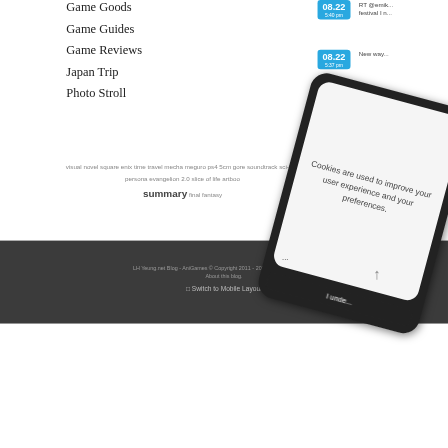Game Goods
Game Guides
Game Reviews
Japan Trip
Photo Stroll
[Figure (screenshot): Two blue date badge icons showing 08.22 at 5:40 pm and 08.22 at 5:37 pm, with partial Twitter text visible to the right reading 'RT @emik... festival I n...' and 'New way...']
visual novel square enix time travel mecha meguro ps4 5cm gore soundtrack sci-fi ro
persona evangelion 2.0 slice of life artboo
summary final fantasy
[Figure (screenshot): A mobile phone overlaid showing a cookie consent dialog. Text reads: 'Cookies are used to improve your user experience and your preferences.' with a partial button at bottom reading 'I unde...']
LH Yeung.net Blog - AniGames © Copyright 2011 - 2022. All rights reserved. About this blog.
Switch to Mobile Layout